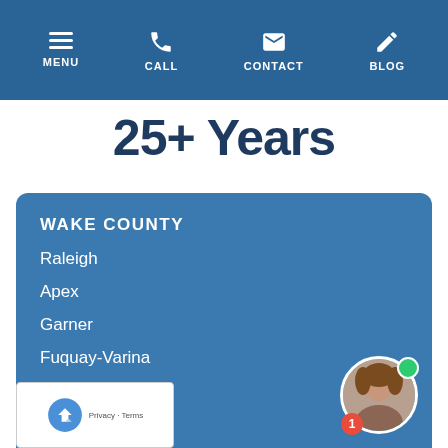MENU | CALL | CONTACT | BLOG
25+ Years
WAKE COUNTY
Raleigh
Apex
Garner
Fuquay-Varina
Holly Springs